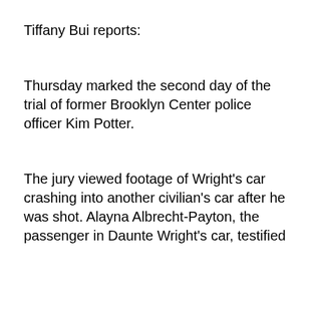Tiffany Bui reports:
Thursday marked the second day of the trial of former Brooklyn Center police officer Kim Potter.
The jury viewed footage of Wright's car crashing into another civilian's car after he was shot. Alayna Albrecht-Payton, the passenger in Daunte Wright's car, testified